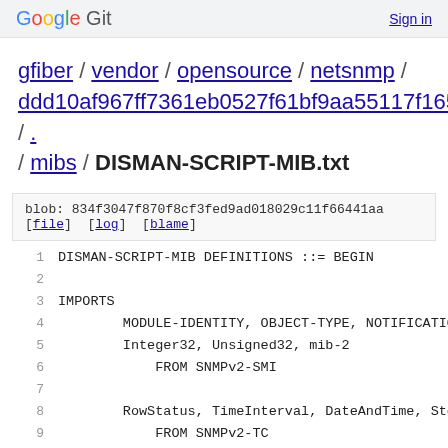Google Git   Sign in
gfiber / vendor / opensource / netsnmp / ddd10af967ff7361eb0527f61bf9aa55117f1651 / . / mibs / DISMAN-SCRIPT-MIB.txt
blob: 834f3047f870f8cf3fed9ad018029c11f66441aa
[file] [log] [blame]
1   DISMAN-SCRIPT-MIB DEFINITIONS ::= BEGIN
2
3   IMPORTS
4       MODULE-IDENTITY, OBJECT-TYPE, NOTIFICATION-
5       Integer32, Unsigned32, mib-2
6           FROM SNMPv2-SMI
7
8       RowStatus, TimeInterval, DateAndTime, Stora
9           FROM SNMPv2-TC
10